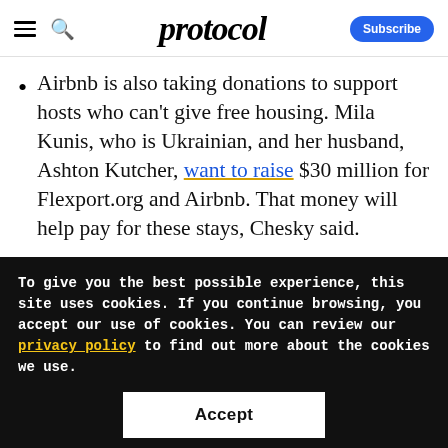protocol
Airbnb is also taking donations to support hosts who can't give free housing. Mila Kunis, who is Ukrainian, and her husband, Ashton Kutcher, want to raise $30 million for Flexport.org and Airbnb. That money will help pay for these stays, Chesky said.
To give you the best possible experience, this site uses cookies. If you continue browsing, you accept our use of cookies. You can review our privacy policy to find out more about the cookies we use.
Accept